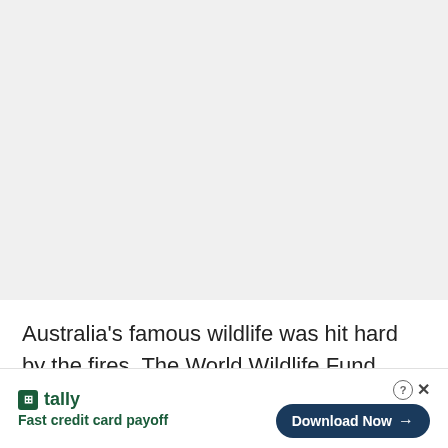[Figure (other): Large blank/grey area at the top of the page, likely where an image or video would load.]
Australia's famous wildlife was hit hard by the fires. The World Wildlife Fund estimates that
[Figure (other): Advertisement banner for Tally app — logo, tagline 'Fast credit card payoff', and 'Download Now' button.]